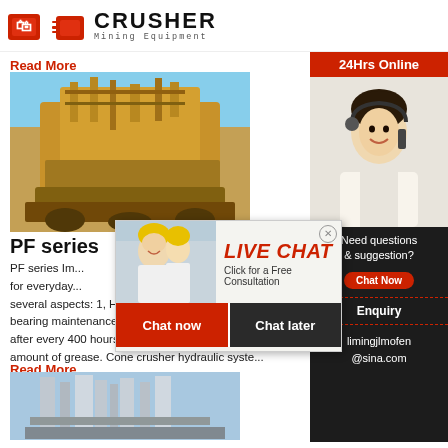CRUSHER Mining Equipment
Read More
[Figure (photo): Large yellow mining machinery/crusher equipment outdoors]
PF series
PF series Im... for everyday... several aspects: 1, Hydraulic Cone Crusher for bearing maintenance: 3 # lithium grease used in... after every 400 hours of work, you need to add amount of grease. Cone crusher hydraulic syste...
Read More
[Figure (photo): Industrial facility with tall structures, towers and pipes]
[Figure (photo): Live chat popup overlay with smiling workers in hard hats and a female customer service representative]
[Figure (photo): Right sidebar with female customer service agent wearing headset, 24Hrs Online label]
24Hrs Online
Need questions & suggestion?
Chat Now
Enquiry
limingjlmofen@sina.com
LIVE CHAT
Click for a Free Consultation
Chat now
Chat later